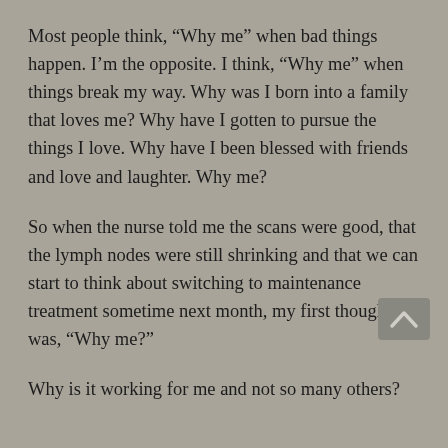Most people think, “Why me” when bad things happen. I’m the opposite. I think, “Why me” when things break my way. Why was I born into a family that loves me? Why have I gotten to pursue the things I love. Why have I been blessed with friends and love and laughter. Why me?
So when the nurse told me the scans were good, that the lymph nodes were still shrinking and that we can start to think about switching to maintenance treatment sometime next month, my first thought was, “Why me?”
Why is it working for me and not so many others?